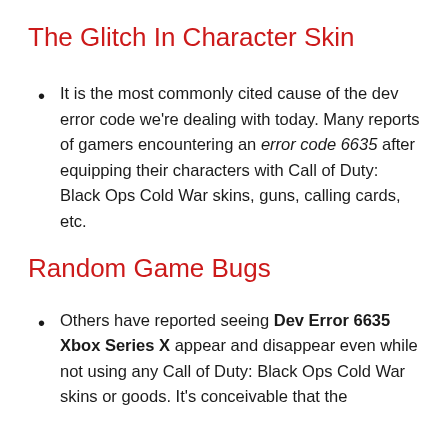The Glitch In Character Skin
It is the most commonly cited cause of the dev error code we're dealing with today. Many reports of gamers encountering an error code 6635 after equipping their characters with Call of Duty: Black Ops Cold War skins, guns, calling cards, etc.
Random Game Bugs
Others have reported seeing Dev Error 6635 Xbox Series X appear and disappear even while not using any Call of Duty: Black Ops Cold War skins or goods. It's conceivable that the